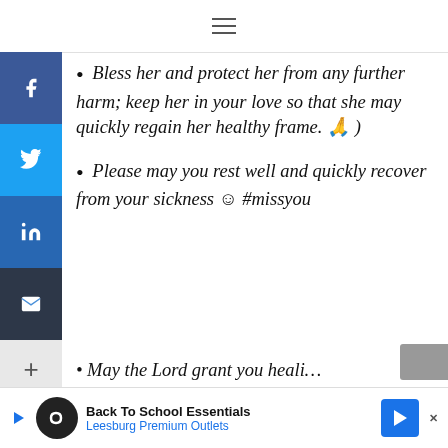≡
• Bless her and protect her from any further harm; keep her in your love so that she may quickly regain her healthy frame. 🙏 )
• Please may you rest well and quickly recover from your sickness 😊 #missyou
• May the Lord grant you heali…
[Figure (screenshot): Advertisement bar: Back To School Essentials – Leesburg Premium Outlets]
[Figure (screenshot): Left sidebar with social sharing buttons: Facebook (blue), Twitter (light blue), LinkedIn (dark blue), Email (dark), and More (+) button]